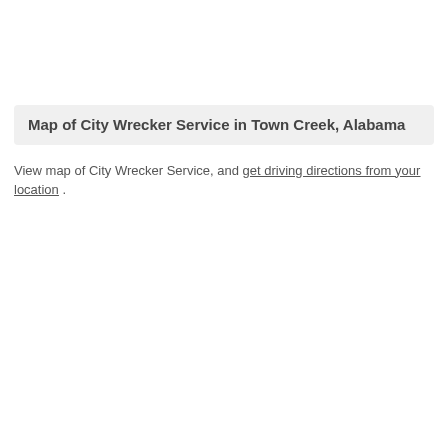Map of City Wrecker Service in Town Creek, Alabama
View map of City Wrecker Service, and get driving directions from your location .